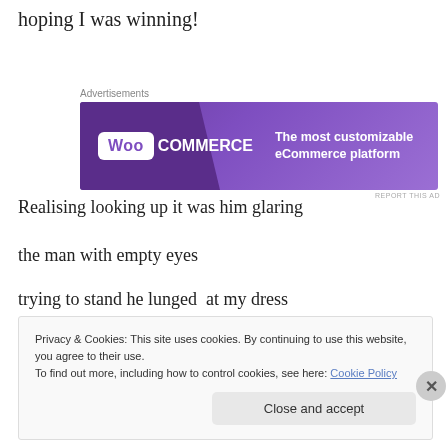hoping I was winning!
[Figure (other): WooCommerce advertisement banner: purple background with WooCommerce logo on left and tagline 'The most customizable eCommerce platform' on right]
Realising looking up it was him glaring
the man with empty eyes
trying to stand he lunged  at my dress
Privacy & Cookies: This site uses cookies. By continuing to use this website, you agree to their use.
To find out more, including how to control cookies, see here: Cookie Policy